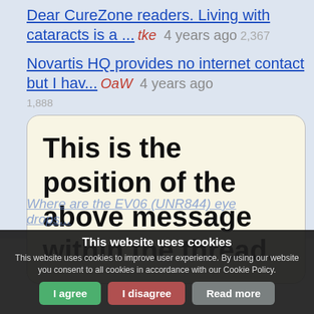Dear CureZone readers. Living with cataracts is a ... tke 4 years ago 2,367
Novartis HQ provides no internet contact but I hav... OaW 4 years ago 1,888
This is the position of the above message within the thread.
Where are the EV06 (UNR844) eye drops...
This website uses cookies
This website uses cookies to improve user experience. By using our website you consent to all cookies in accordance with our Cookie Policy.